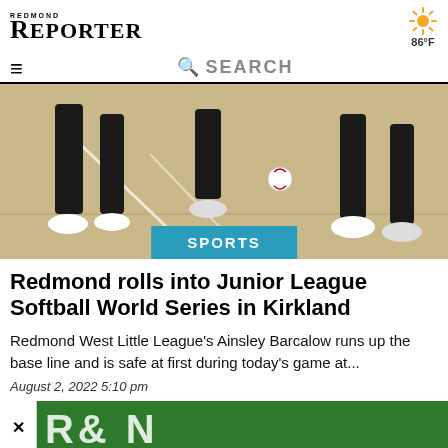REDMOND REPORTER
86°F
SEARCH
[Figure (photo): Softball players' legs on a dirt base line, a softball visible near the ground]
SPORTS
Redmond rolls into Junior League Softball World Series in Kirkland
Redmond West Little League's Ainsley Barcalow runs up the base line and is safe at first during today's game at...
August 2, 2022 5:10 pm
[Figure (photo): Partial green sign with white letters, close-cropped]
Shop Walgreens Today Walgreens Photo